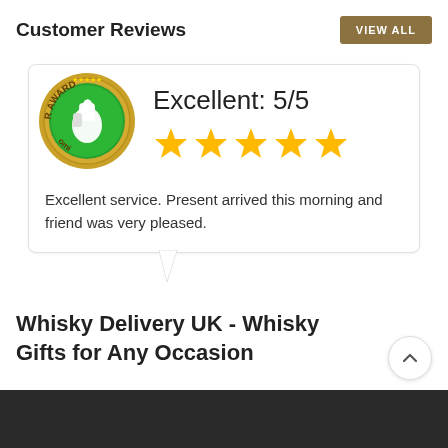Customer Reviews
[Figure (logo): eKomi Customer Award badge — gold coin with green thumbs-up center and text CUSTOMER AWARD and eKomi]
Excellent: 5/5
[Figure (other): Five gold star rating icons]
Excellent service. Present arrived this morning and friend was very pleased.
Whisky Delivery UK - Whisky Gifts for Any Occasion